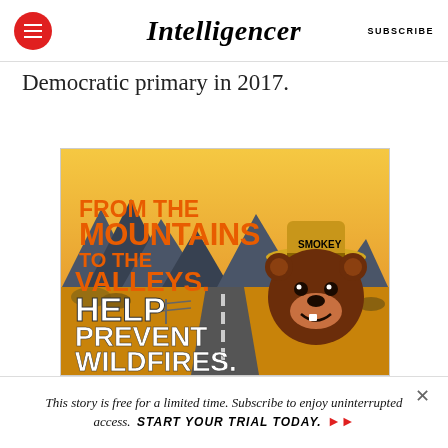Intelligencer | SUBSCRIBE
Democratic primary in 2017.
[Figure (photo): Smokey Bear advertisement: 'From the Mountains to the Valleys. Help Prevent Wildfires.' Animated Smokey Bear character wearing a ranger hat labeled SMOKEY, set against a mountain and valley road landscape.]
This story is free for a limited time. Subscribe to enjoy uninterrupted access. START YOUR TRIAL TODAY.